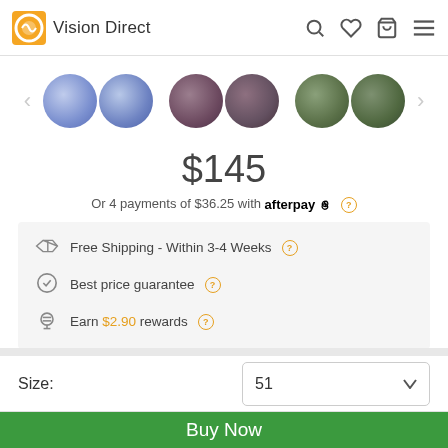Vision Direct
[Figure (photo): Three pairs of circular lens swatches: blue pair, dark purple/maroon pair, and dark green pair, arranged horizontally with navigation arrows on each side.]
$145
Or 4 payments of $36.25 with afterpay ?
Free Shipping - Within 3-4 Weeks ?
Best price guarantee ?
Earn $2.90 rewards ?
Size: 51
Technical Details +
Buy Now